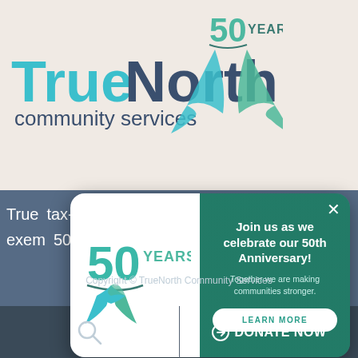[Figure (logo): TrueNorth Community Services logo with 50 Years anniversary badge]
True tax- exem 501(c)
[Figure (infographic): Popup modal with 50 Years logo on left and teal background on right with anniversary text and Learn More button]
Join us as we celebrate our 50th Anniversary! Together we are making communities stronger.
LEARN MORE
Copyright © TrueNorth Community Services
DONATE NOW